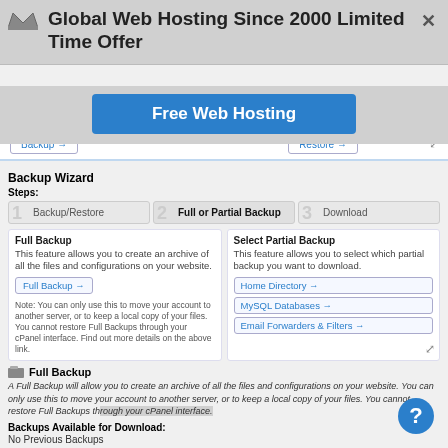Global Web Hosting Since 2000 Limited Time Offer
[Figure (screenshot): Free Web Hosting blue button]
[Figure (screenshot): Backup and Restore navigation buttons]
Backup Wizard
Steps:
[Figure (infographic): Three step wizard: 1 Backup/Restore, 2 Full or Partial Backup (active), 3 Download]
Full Backup
This feature allows you to create an archive of all the files and configurations on your website.
Full Backup →
Note: You can only use this to move your account to another server, or to keep a local copy of your files. You cannot restore Full Backups through your cPanel interface. Find out more details on the above link.
Select Partial Backup
This feature allows you to select which partial backup you want to download.
Home Directory →
MySQL Databases →
Email Forwarders & Filters →
Full Backup
A Full Backup will allow you to create an archive of all the files and configurations on your website. You can only use this to move your account to another server, or to keep a local copy of your files. You cannot restore Full Backups through your cPanel interface.
Backups Available for Download:
No Previous Backups
Generate a Full Backup
Backup Destination: Home Directory